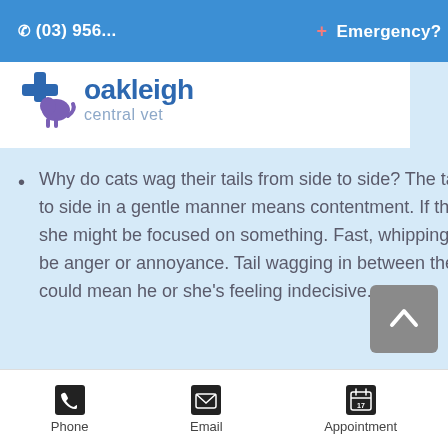✆ (03) 956... + Emergency?
[Figure (logo): Oakleigh Central Vet logo with blue cross and animal silhouette]
Why do cats wag their tails from side to side? The tail moving from side to side in a gentle manner means contentment. If the cat is sitting quietly, she might be focused on something. Fast, whipping back and forth could be anger or annoyance. Tail wagging in between these descriptions could mean he or she's feeling indecisive.
Phone | Email | Appointment